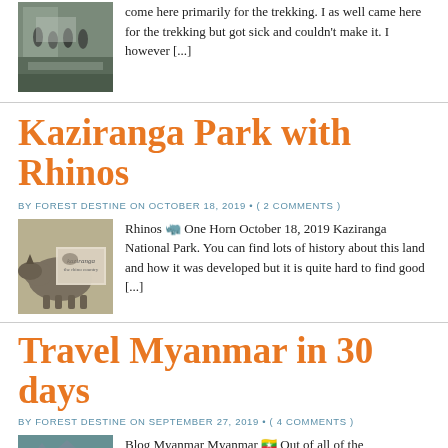come here primarily for the trekking. I as well came here for the trekking but got sick and couldn't make it. I however [...]
Kaziranga Park with Rhinos
BY FOREST DESTINE ON OCTOBER 18, 2019 • ( 2 COMMENTS )
[Figure (photo): Photo of a rhino with a Kaziranga book cover]
Rhinos 🦏 One Horn October 18, 2019 Kaziranga National Park. You can find lots of history about this land and how it was developed but it is quite hard to find good [...]
Travel Myanmar in 30 days
BY FOREST DESTINE ON SEPTEMBER 27, 2019 • ( 4 COMMENTS )
[Figure (photo): Photo related to Myanmar travel]
Blog Myanmar Myanmar 🇲🇲 Out of all of the